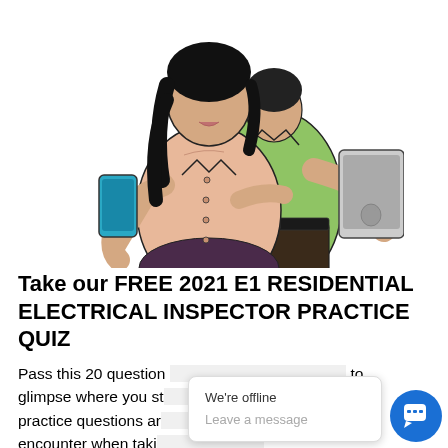[Figure (illustration): Comic-style illustration of two people: a woman in a peach blouse holding a smartphone, and a man in a green shirt holding a tablet/iPad, standing back to back.]
Take our FREE 2021 E1 RESIDENTIAL ELECTRICAL INSPECTOR PRACTICE QUIZ
Pass this 20 question [partially obscured by chat widget] to glimpse where you st[and on the E1] 1 practice questions ar[e similar to what] w encounter when taki[ng your exam to earn] Certifi[cation]...